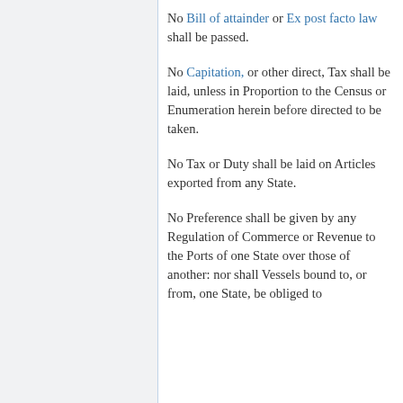No Bill of attainder or Ex post facto law shall be passed.
No Capitation, or other direct, Tax shall be laid, unless in Proportion to the Census or Enumeration herein before directed to be taken.
No Tax or Duty shall be laid on Articles exported from any State.
No Preference shall be given by any Regulation of Commerce or Revenue to the Ports of one State over those of another: nor shall Vessels bound to, or from, one State, be obliged to